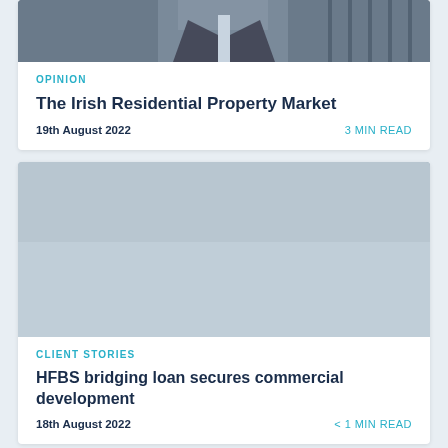[Figure (photo): Partial photo of a man in a suit jacket, cropped at the top of the page]
OPINION
The Irish Residential Property Market
19th August 2022
3 MIN READ
[Figure (photo): Large image area for second article, appears mostly blank/light in color]
CLIENT STORIES
HFBS bridging loan secures commercial development
18th August 2022
< 1 MIN READ